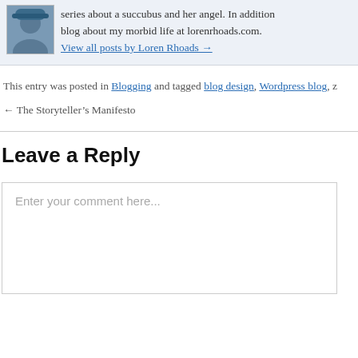[Figure (photo): Author photo showing a person in a blue hat]
series about a succubus and her angel. In addition blog about my morbid life at lorenrhoads.com. View all posts by Loren Rhoads →
This entry was posted in Blogging and tagged blog design, Wordpress blog, z
← The Storyteller's Manifesto
Leave a Reply
Enter your comment here...